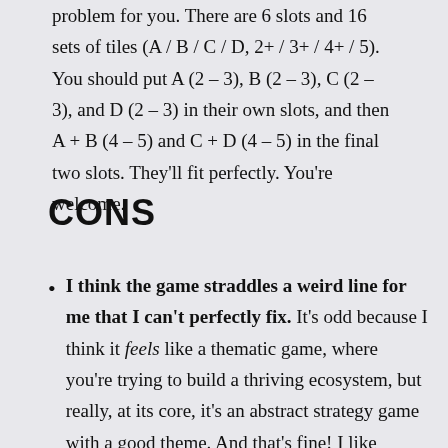problem for you. There are 6 slots and 16 sets of tiles (A / B / C / D, 2+ / 3+ / 4+ / 5). You should put A (2 – 3), B (2 – 3), C (2 – 3), and D (2 – 3) in their own slots, and then A + B (4 – 5) and C + D (4 – 5) in the final two slots. They'll fit perfectly. You're welcome.
CONS
I think the game straddles a weird line for me that I can't perfectly fix. It's odd because I think it feels like a thematic game, where you're trying to build a thriving ecosystem, but really, at its core, it's an abstract strategy game with a good theme. And that's fine! I like abstracts! But I think I'd be happier if it moved stronger in either direction. Which is odd! I'm